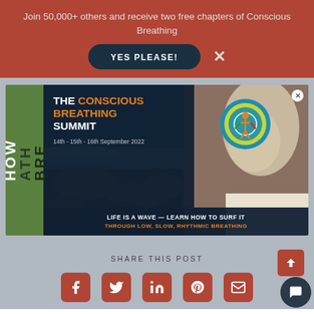Join 50,000+ others and receive two free chapters of Conscious Breathing
[Figure (screenshot): YES PLEASE! button with dark navy rounded rectangle, and an X close button to the right]
[Figure (infographic): The Conscious Breathing Summit promotional card. Shows rocky ocean background on left, woman on right. Dark overlay with text: THE CONSCIOUS BREATHING SUMMIT, 14th - 15th - 16th September 2022. Logo circle with yoga figure. Bottom bar: LIFE IS A WAVE — LEARN HOW TO SURF IT / THROUGH LOW, SLOW, RHYTHMIC BREATHING. Left green strip with HOW ATH BRE text.]
SHARE THIS POST
[Figure (infographic): Social share icons: Facebook, Twitter, LinkedIn, Pinterest, Email — all in terracotta/rust color rounded square buttons]